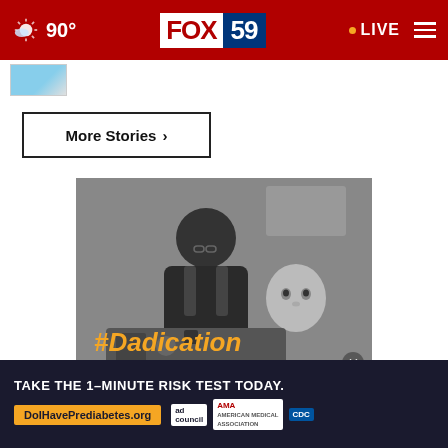FOX 59 — 90° — LIVE
[Figure (screenshot): Small thumbnail image of blue sky]
More Stories ›
[Figure (photo): Black and white photo of a father working on something mechanical while carrying a baby on his back. Text overlay reads #Dadication in orange italic text.]
[Figure (infographic): Advertisement banner: TAKE THE 1-MINUTE RISK TEST TODAY. DoIHavePrediabetes.org with ad council, AMA, and CDC logos.]